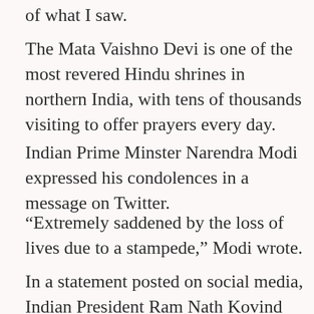of what I saw.
The Mata Vaishno Devi is one of the most revered Hindu shrines in northern India, with tens of thousands visiting to offer prayers every day.
Indian Prime Minster Narendra Modi expressed his condolences in a message on Twitter.
“Extremely saddened by the loss of lives due to a stampede,” Modi wrote.
In a statement posted on social media, Indian President Ram Nath Kovind said he was “very distressed to know that an unfortunate stampede claimed lives of devotees at Mata Vaishno Devi”